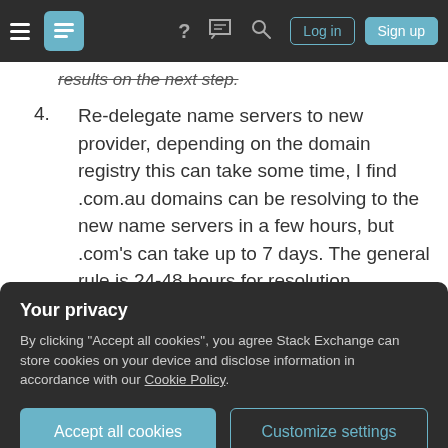Stack Exchange navigation bar with hamburger menu, logo, help, chat, search icons, and Log in / Sign up buttons
results on the next step.
4. Re-delegate name servers to new provider, depending on the domain registry this can take some time, I find .com.au domains can be resolving to the new name servers in a few hours, but .com's can take up to 7 days. The general rule is 24-48 hours for resolution.
After a period of time has passed (varies depending on registry, etc) you can check and see if your domain is resolving to your new
Your privacy
By clicking "Accept all cookies", you agree Stack Exchange can store cookies on your device and disclose information in accordance with our Cookie Policy.
repeat process with added time waiting for